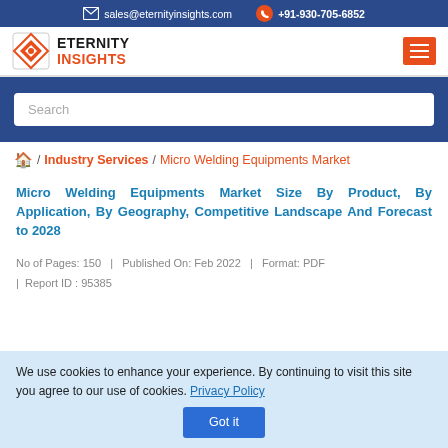sales@eternityinsights.com  +91-930-705-6852
[Figure (logo): Eternity Insights logo with diamond icon and company name]
Search
🏠 / Industry Services / Micro Welding Equipments Market
Micro Welding Equipments Market Size By Product, By Application, By Geography, Competitive Landscape And Forecast to 2028
No of Pages: 150   |   Published On: Feb 2022   |   Format: PDF   |   Report ID : 95385
We use cookies to enhance your experience. By continuing to visit this site you agree to our use of cookies. Privacy Policy Got it